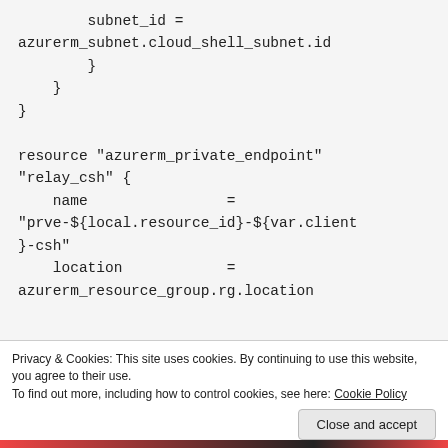subnet_id = azurerm_subnet.cloud_shell_subnet.id
        }
    }
}

resource "azurerm_private_endpoint"
"relay_csh" {
    name                = "prve-${local.resource_id}-${var.client}-csh"
    location            = azurerm_resource_group.rg.location
Privacy & Cookies: This site uses cookies. By continuing to use this website, you agree to their use.
To find out more, including how to control cookies, see here: Cookie Policy
Close and accept